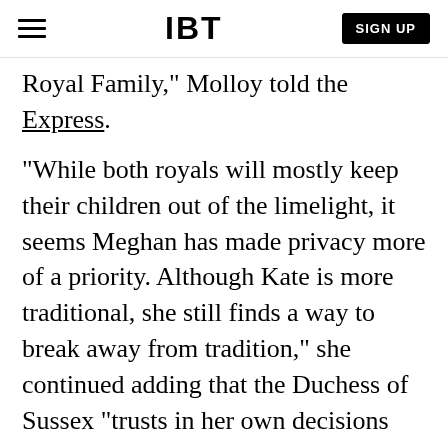≡  IBT  SIGN UP
Royal Family," Molloy told the Express.
"While both royals will mostly keep their children out of the limelight, it seems Meghan has made privacy more of a priority. Although Kate is more traditional, she still finds a way to break away from tradition," she continued adding that the Duchess of Sussex "trusts in her own decisions and makes her own way when it comes to motherhood. She does that by taking influence from others outside of the Royal Family."